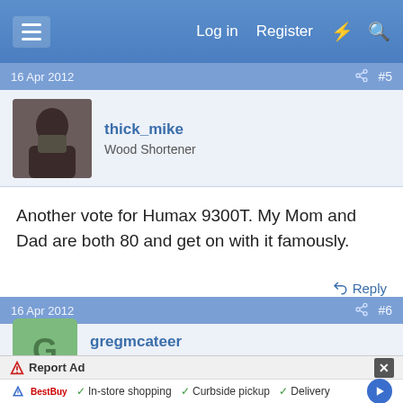Log in   Register
16 Apr 2012   #5
thick_mike
Wood Shortener
Another vote for Humax 9300T. My Mom and Dad are both 80 and get on with it famously.
16 Apr 2012   #6
gregmcateer
Established Member
Report Ad
In-store shopping   Curbside pickup   Delivery